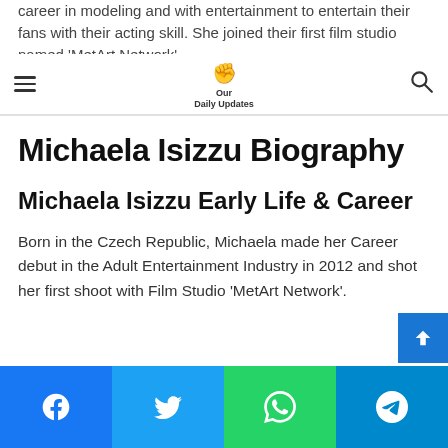career in modeling and with entertainment to entertain their fans with their acting skill. She joined their first film studio named 'MetArt Network'.
Our Daily Updates
Michaela Isizzu Biography
Michaela Isizzu Early Life & Career
Born in the Czech Republic, Michaela made her Career debut in the Adult Entertainment Industry in 2012 and shot her first shoot with Film Studio 'MetArt Network'.
Social share bar: Facebook, Twitter, WhatsApp, Telegram